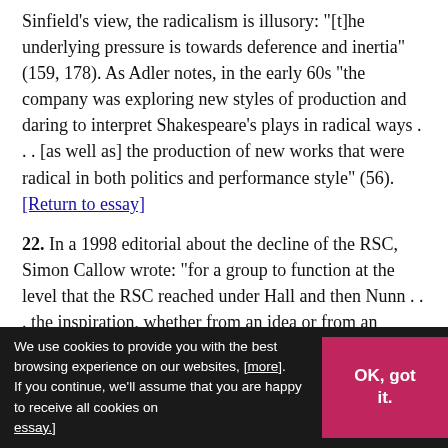Sinfield's view, the radicalism is illusory: "[t]he underlying pressure is towards deference and inertia" (159, 178). As Adler notes, in the early 60s "the company was exploring new styles of production and daring to interpret Shakespeare's plays in radical ways . . . [as well as] the production of new works that were radical in both politics and performance style" (56). [Return to essay]
22. In a 1998 editorial about the decline of the RSC, Simon Callow wrote: "for a group to function at the level that the RSC reached under Hall and then Nunn . . . the inspiration, whether from an idea or from an individual, needs to be white hot. Somewhere, they lost their power to inspire their members to think of themselves as . . . an ensemble" ("Theatre: ... Futility" Independent [London], 14 Nov ... [Return to essay]
We use cookies to provide you with the best browsing experience on our websites, [more]. If you continue, we'll assume that you are happy to receive all cookies on essay.]